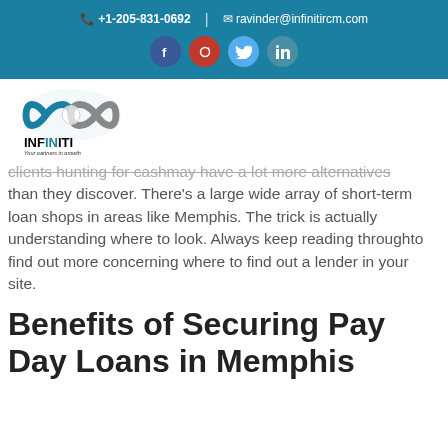✆ +1-205-831-0692 | ✉ ravinder@infinitircm.com
[Figure (logo): Infiniti company logo with infinity symbol and text 'INFINITI - Your partners in growth']
clients hunting for cashmay have a lot more alternatives than they discover. There's a large wide array of short-term loan shops in areas like Memphis. The trick is actually understanding where to look. Always keep reading throughto find out more concerning where to find out a lender in your site.
Benefits of Securing Pay Day Loans in Memphis